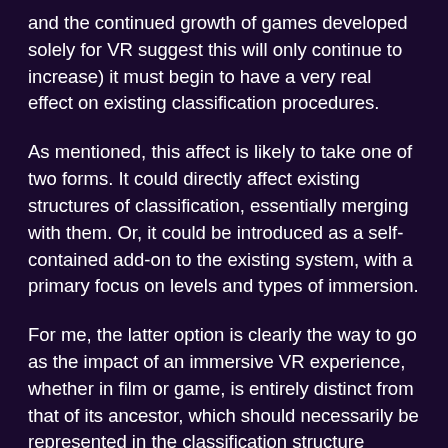and the continued growth of games developed solely for VR suggest this will only continue to increase) it must begin to have a very real effect on existing classification procedures.
As mentioned, this affect is likely to take one of two forms. It could directly affect existing structures of classification, essentially merging with them. Or, it could be introduced as a self-contained add-on to the existing system, with a primary focus on levels and types of immersion.
For me, the latter option is clearly the way to go as the impact of an immersive VR experience, whether in film or game, is entirely distinct from that of its ancestor, which should necessarily be represented in the classification structure applied to it.
In gaming, the people responsible for defining